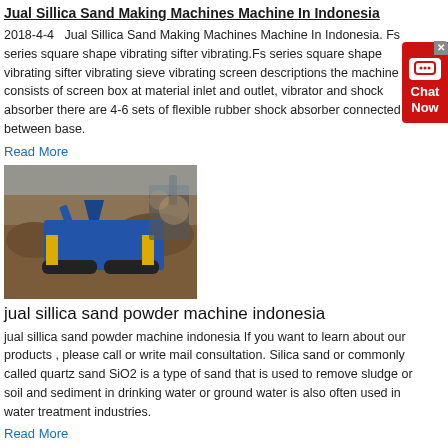Jual Sillica Sand Making Machines Machine In Indonesia
2018-4-4   Jual Sillica Sand Making Machines Machine In Indonesia. Fs series square shape vibrating sifter vibrating.Fs series square shape vibrating sifter vibrating sieve vibrating screen descriptions the machine consists of screen box at material inlet and outlet, vibrator and shock absorber there are 4-6 sets of flexible rubber shock absorber connected between base.
Read More
[Figure (photo): A blue mobile crushing/screening machine working at a brown sandy/rocky quarry site, with an excavator visible in the background.]
jual sillica sand powder machine indonesia
jual sillica sand powder machine indonesia If you want to learn about our products , please call or write mail consultation. Silica sand or commonly called quartz sand SiO2 is a type of sand that is used to remove sludge or soil and sediment in drinking water or ground water is also often used in water treatment industries.
Read More